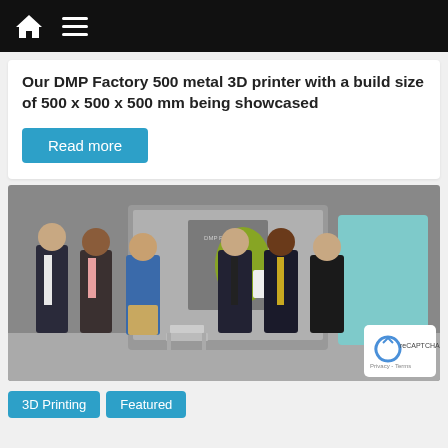Navigation bar with home icon and hamburger menu
Our DMP Factory 500 metal 3D printer with a build size of 500 x 500 x 500 mm being showcased
Read more
[Figure (photo): Group of six people standing in front of a large grey metal 3D printer machine (DMP Flex 350 or similar) in an industrial room. Three on the left in business casual, one in blue shirt, two on right in dark suits with ties.]
3D Printing
Featured